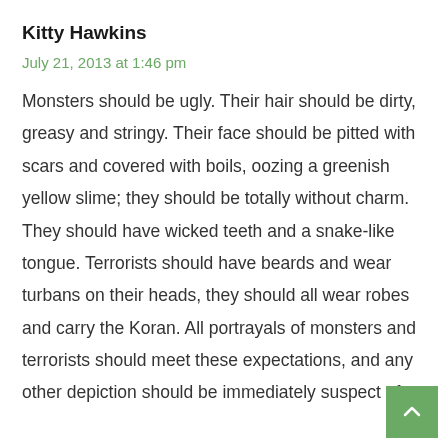Kitty Hawkins
July 21, 2013 at 1:46 pm
Monsters should be ugly. Their hair should be dirty, greasy and stringy. Their face should be pitted with scars and covered with boils, oozing a greenish yellow slime; they should be totally without charm. They should have wicked teeth and a snake-like tongue. Terrorists should have beards and wear turbans on their heads, they should all wear robes and carry the Koran. All portrayals of monsters and terrorists should meet these expectations, and any other depiction should be immediately suspect of